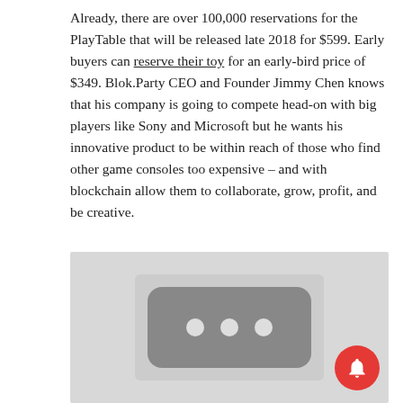Already, there are over 100,000 reservations for the PlayTable that will be released late 2018 for $599. Early buyers can reserve their toy for an early-bird price of $349. Blok.Party CEO and Founder Jimmy Chen knows that his company is going to compete head-on with big players like Sony and Microsoft but he wants his innovative product to be within reach of those who find other game consoles too expensive – and with blockchain allow them to collaborate, grow, profit, and be creative.
[Figure (photo): A grayscale photo of a rounded-rectangle gaming device (the PlayTable) with three circular buttons/ports on its face, displayed against a light gray background. A red notification bell button appears in the bottom-right corner.]